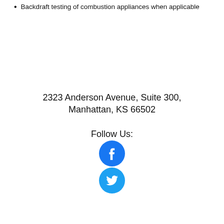Backdraft testing of combustion appliances when applicable
2323 Anderson Avenue, Suite 300, Manhattan, KS 66502
Follow Us:
[Figure (illustration): Facebook and Twitter social media icons (circles with white logos on blue background)]